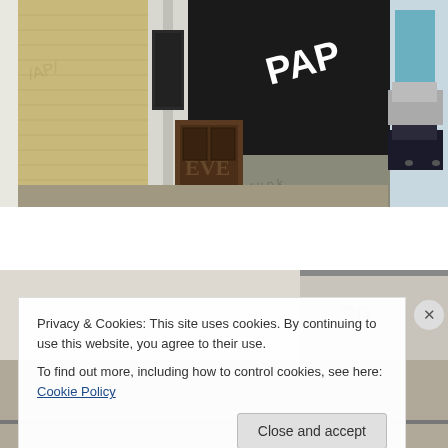[Figure (photo): Street scene showing old brick building facade with a large black painted wall/billboard with 'PAPER' text in white letters diagonally, a brown wooden door with graffiti, white brick columns, parked cars visible on the right side of the street]
[Figure (photo): Partial view of a building roofline and street, lower portion of page]
Privacy & Cookies: This site uses cookies. By continuing to use this website, you agree to their use.
To find out more, including how to control cookies, see here: Cookie Policy
Close and accept